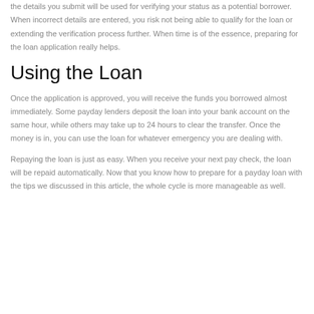the details you submit will be used for verifying your status as a potential borrower. When incorrect details are entered, you risk not being able to qualify for the loan or extending the verification process further. When time is of the essence, preparing for the loan application really helps.
Using the Loan
Once the application is approved, you will receive the funds you borrowed almost immediately. Some payday lenders deposit the loan into your bank account on the same hour, while others may take up to 24 hours to clear the transfer. Once the money is in, you can use the loan for whatever emergency you are dealing with.
Repaying the loan is just as easy. When you receive your next pay check, the loan will be repaid automatically. Now that you know how to prepare for a payday loan with the tips we discussed in this article, the whole cycle is more manageable as well.